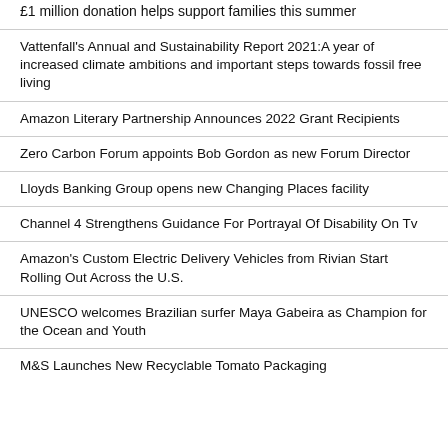£1 million donation helps support families this summer
Vattenfall's Annual and Sustainability Report 2021:A year of increased climate ambitions and important steps towards fossil free living
Amazon Literary Partnership Announces 2022 Grant Recipients
Zero Carbon Forum appoints Bob Gordon as new Forum Director
Lloyds Banking Group opens new Changing Places facility
Channel 4 Strengthens Guidance For Portrayal Of Disability On Tv
Amazon's Custom Electric Delivery Vehicles from Rivian Start Rolling Out Across the U.S.
UNESCO welcomes Brazilian surfer Maya Gabeira as Champion for the Ocean and Youth
M&S Launches New Recyclable Tomato Packaging